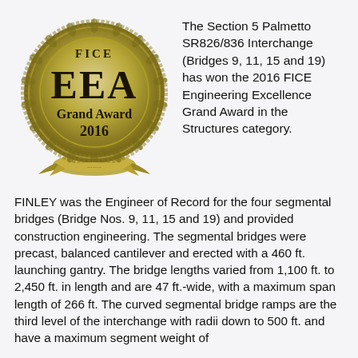[Figure (logo): FICE EEA Grand Award 2016 medallion logo — circular gold/olive medal with laurel wreath border, text FICE at top, large EEA in center, Grand Award below, 2016 at bottom]
The Section 5 Palmetto SR826/836 Interchange (Bridges 9, 11, 15 and 19) has won the 2016 FICE Engineering Excellence Grand Award in the Structures category.
FINLEY was the Engineer of Record for the four segmental bridges (Bridge Nos. 9, 11, 15 and 19) and provided construction engineering. The segmental bridges were precast, balanced cantilever and erected with a 460 ft. launching gantry. The bridge lengths varied from 1,100 ft. to 2,450 ft. in length and are 47 ft.-wide, with a maximum span length of 266 ft. The curved segmental bridge ramps are the third level of the interchange with radii down to 500 ft. and have a maximum segment weight of...